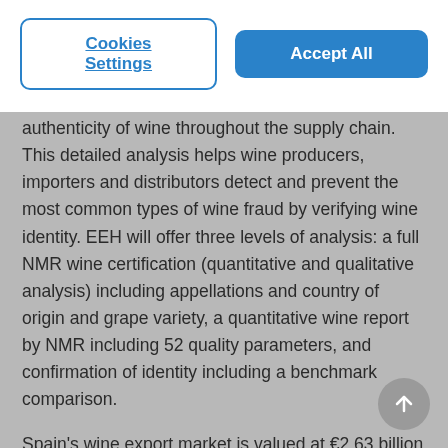[Figure (screenshot): Cookie consent banner with 'Cookies Settings' outlined button and 'Accept All' blue filled button]
authenticity of wine throughout the supply chain. This detailed analysis helps wine producers, importers and distributors detect and prevent the most common types of wine fraud by verifying wine identity. EEH will offer three levels of analysis: a full NMR wine certification (quantitative and qualitative analysis) including appellations and country of origin and grape variety, a quantitative wine report by NMR including 52 quality parameters, and confirmation of identity including a benchmark comparison.
Spain's wine export market is valued at €2.63 billion and, as a premium product, it is vulnerable to many types of economically motivated fraud (EMF). As consumers increasingly demand authenticity and transparency of